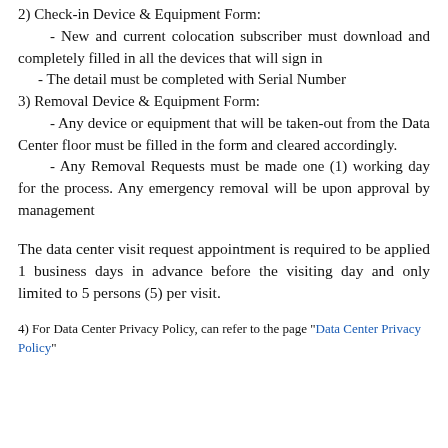2) Check-in Device & Equipment Form:
- New and current colocation subscriber must download and completely filled in all the devices that will sign in
- The detail must be completed with Serial Number
3) Removal Device & Equipment Form:
- Any device or equipment that will be taken-out from the Data Center floor must be filled in the form and cleared accordingly.
- Any Removal Requests must be made one (1) working day for the process. Any emergency removal will be upon approval by management
The data center visit request appointment is required to be applied 1 business days in advance before the visiting day and only limited to 5 persons (5) per visit.
4) For Data Center Privacy Policy, can refer to the page "Data Center Privacy Policy"